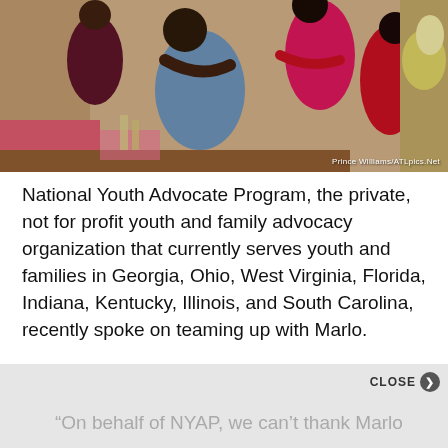[Figure (photo): Group of women embracing and laughing at what appears to be an indoor event with floral decorations. Photo credit: Prince Williams/ATLpics.Net]
National Youth Advocate Program, the private, not for profit youth and family advocacy organization that currently serves youth and families in Georgia, Ohio, West Virginia, Florida, Indiana, Kentucky, Illinois, and South Carolina, recently spoke on teaming up with Marlo.
“On behalf of NYAP, we can’t thank Marlo